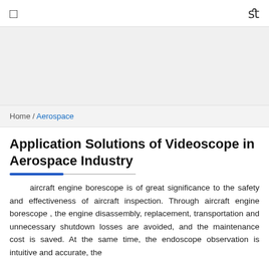☐  fl
[Figure (other): Advertisement/banner placeholder area (gray box)]
Home / Aerospace
Application Solutions of Videoscope in Aerospace Industry
aircraft engine borescope is of great significance to the safety and effectiveness of aircraft inspection. Through aircraft engine borescope , the engine disassembly, replacement, transportation and unnecessary shutdown losses are avoided, and the maintenance cost is saved. At the same time, the endoscope observation is intuitive and accurate, the